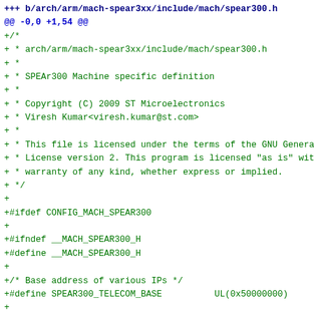+++ b/arch/arm/mach-spear3xx/include/mach/spear300.h
@@ -0,0 +1,54 @@
+/*
+ * arch/arm/mach-spear3xx/include/mach/spear300.h
+ *
+ * SPEAr300 Machine specific definition
+ *
+ * Copyright (C) 2009 ST Microelectronics
+ * Viresh Kumar<viresh.kumar@st.com>
+ *
+ * This file is licensed under the terms of the GNU General
+ * License version 2. This program is licensed "as is" witho
+ * warranty of any kind, whether express or implied.
+ */
+
+#ifdef CONFIG_MACH_SPEAR300
+
+#ifndef __MACH_SPEAR300_H
+#define __MACH_SPEAR300_H
+
+/* Base address of various IPs */
+#define SPEAR300_TELECOM_BASE          UL(0x50000000)
+
+/* Interrupt registers offsets and masks */
+#define SPEAR300_INT_ENB_MASK_REG      0x54
++#define SPEAR300_INT_STS_MASK_REG     0x58